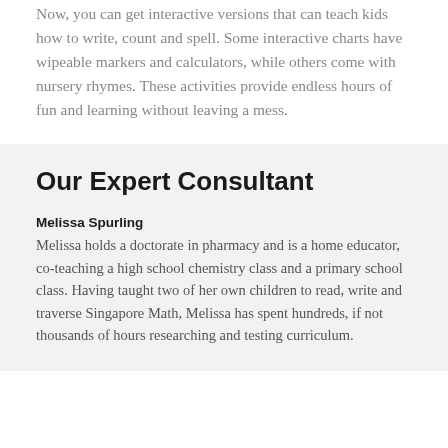Now, you can get interactive versions that can teach kids how to write, count and spell. Some interactive charts have wipeable markers and calculators, while others come with nursery rhymes. These activities provide endless hours of fun and learning without leaving a mess.
Our Expert Consultant
Melissa Spurling
Melissa holds a doctorate in pharmacy and is a home educator, co-teaching a high school chemistry class and a primary school class. Having taught two of her own children to read, write and traverse Singapore Math, Melissa has spent hundreds, if not thousands of hours researching and testing curriculum.